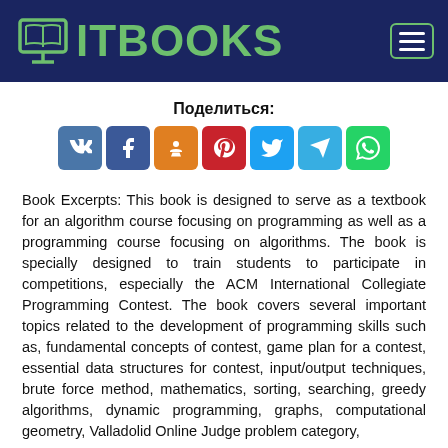ITBOOKS
[Figure (other): Share buttons row: VK, Facebook, Odnoklassniki, Pinterest, Twitter, Telegram, WhatsApp with label Поделиться:]
Book Excerpts: This book is designed to serve as a textbook for an algorithm course focusing on programming as well as a programming course focusing on algorithms. The book is specially designed to train students to participate in competitions, especially the ACM International Collegiate Programming Contest. The book covers several important topics related to the development of programming skills such as, fundamental concepts of contest, game plan for a contest, essential data structures for contest, input/output techniques, brute force method, mathematics, sorting, searching, greedy algorithms, dynamic programming, graphs, computational geometry, Valladolid Online Judge problem category,